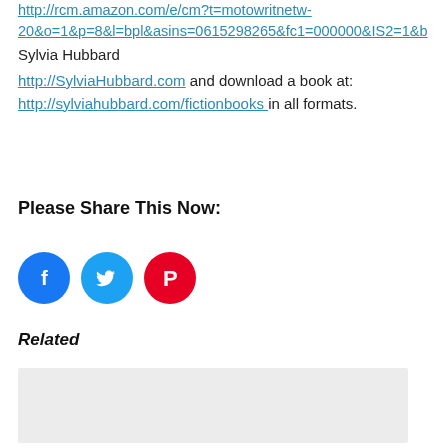http://rcm.amazon.com/e/cm?t=motowritnetw-20&o=1&p=8&l=bpl&asins=0615298265&fc1=000000&IS2=1&b...
Sylvia Hubbard
http://SylviaHubbard.com and download a book at: http://sylviahubbard.com/fictionbooks in all formats.
Please Share This Now:
[Figure (infographic): Three social media share buttons: Facebook (blue circle with 'f' icon), Twitter (light blue circle with bird icon), Pinterest (red circle with 'P' icon)]
Related
[Figure (photo): Light gray placeholder image area for related content]